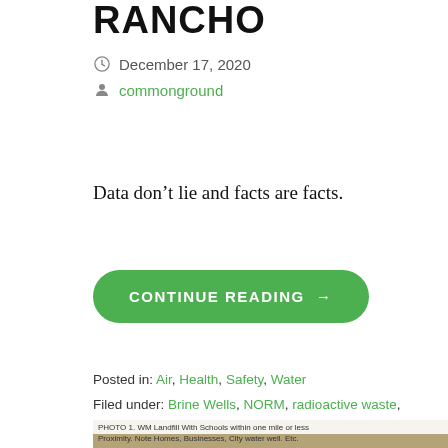RANCHO
December 17, 2020
commonground
Data don’t lie and facts are facts.
CONTINUE READING →
Posted in: Air, Health, Safety, Water
Filed under: Brine Wells, NORM, radioactive waste, TENORM
[Figure (photo): Aerial map photo with caption: PHOTO 1. WM Landfill With Schools within one mile or less Proximity. Note Homes, Businesses, City water well. Etc.]